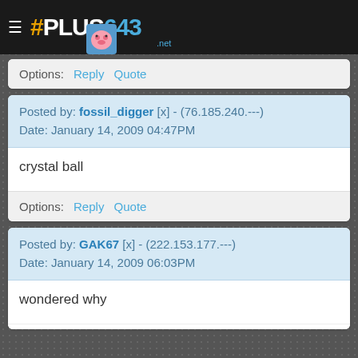#PLUS643 .net
Options: Reply Quote
Posted by: fossil_digger [x] - (76.185.240.---)
Date: January 14, 2009 04:47PM
crystal ball
Options: Reply Quote
Posted by: GAK67 [x] - (222.153.177.---)
Date: January 14, 2009 06:03PM
wondered why